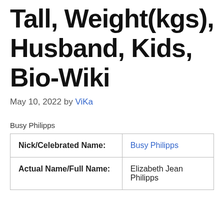Tall, Weight(kgs), Husband, Kids, Bio-Wiki
May 10, 2022 by ViKa
Busy Philipps
| Nick/Celebrated Name: | Busy Philipps |
| Actual Name/Full Name: | Elizabeth Jean Philipps |